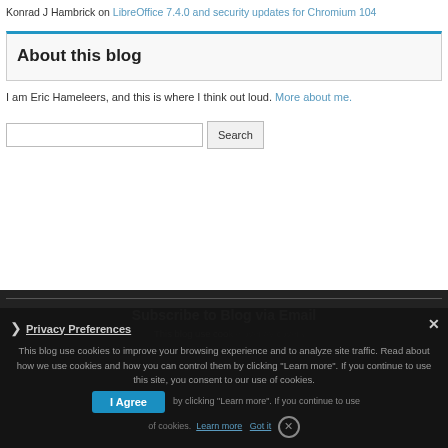Konrad J Hambrick on LibreOffice 7.4.0 and security updates for Chromium 104
About this blog
I am Eric Hameleers, and this is where I think out loud. More about me.
[Figure (screenshot): Search input box with a Search button]
Subscribe to Blog via Email
This blog use cookies to improve your browsing experience and to analyze site traffic. Read about how we use cookies and how you can control them by clicking "Learn more". If you continue to use this site, you consent to our use of cookies.
Privacy Preferences  I Agree  Learn more  Got it